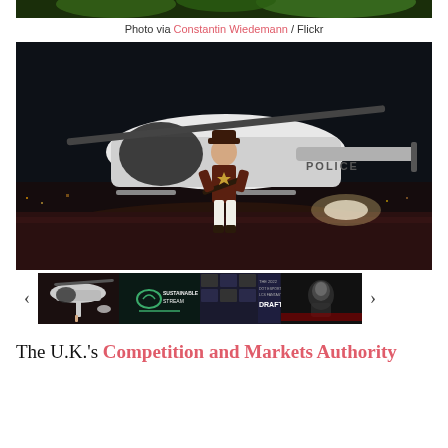[Figure (screenshot): Top portion of green-tinted image (partial, cropped at top edge)]
Photo via Constantin Wiedemann / Flickr
[Figure (screenshot): Video game screenshot showing a cowboy character standing in front of a helicopter at night on a rooftop]
[Figure (screenshot): Thumbnail gallery row with four thumbnails: (1) cowboy with helicopter, (2) Sustainable Stream logo, (3) The 2022 Dot Esports LCS Fantasy Draft, (4) dark portrait. Left and right arrow navigation buttons visible.]
The U.K.'s Competition and Markets Authority